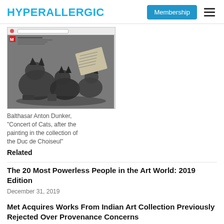HYPERALLERGIC | Membership
[Figure (screenshot): Screenshot of a browser tab showing a black and white engraving of cats in a concert scene with books, by Balthasar Anton Dunker]
Balthasar Anton Dunker, "Concert of Cats, after the painting in the collection of the Duc de Choiseul"
Related
The 20 Most Powerless People in the Art World: 2019 Edition
December 31, 2019
Met Acquires Works From Indian Art Collection Previously Rejected Over Provenance Concerns
July 27, 2022